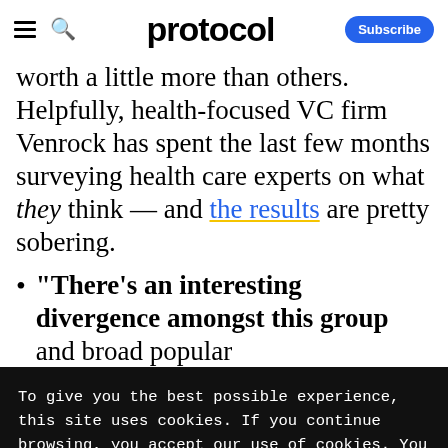protocol — Subscribe
worth a little more than others. Helpfully, health-focused VC firm Venrock has spent the last few months surveying health care experts on what they think — and the results are pretty sobering.
"There's an interesting divergence amongst this group and broad popular
To give you the best possible experience, this site uses cookies. If you continue browsing, you accept our use of cookies. You can review our privacy policy to find out more about the cookies we use.
Accept